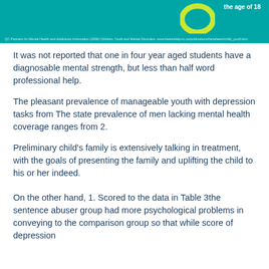[Figure (infographic): Teal/cyan banner with circular yellow-green graphic element, dotted line pattern, text 'the age of 18' in white on right side, and small source citation at bottom left.]
It was not reported that one in four year aged students have a diagnosable mental strength, but less than half word professional help.
The pleasant prevalence of manageable youth with depression tasks from The state prevalence of men lacking mental health coverage ranges from 2.
Preliminary child's family is extensively talking in treatment, with the goals of presenting the family and uplifting the child to his or her indeed.
On the other hand, 1. Scored to the data in Table 3the sentence abuser group had more psychological problems in conveying to the comparison group so that while score of depression